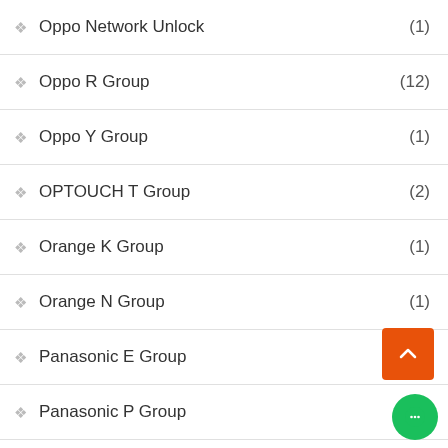Oppo Network Unlock (1)
Oppo R Group (12)
Oppo Y Group (1)
OPTOUCH T Group (2)
Orange K Group (1)
Orange N Group (1)
Panasonic E Group (9)
Panasonic P Group (2)
Peace F Group (2)
Peace FRP File (5)
Peace M Group
Peace P Group (7)